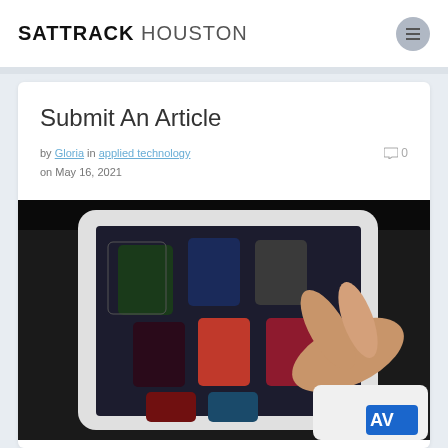SATTRACK HOUSTON
Submit An Article
by Gloria in applied technology on May 16, 2021   0
[Figure (photo): A person holding a white tablet/iPad displaying a grid of app icons or magazine covers on a dark background. An AV logo watermark is visible in the bottom right corner.]